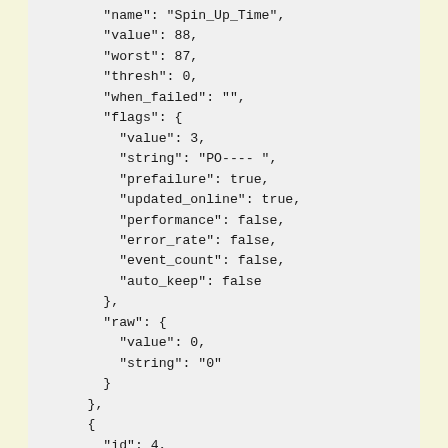JSON code block showing SMART attribute data for Spin_Up_Time and Start_Stop_Count entries including name, value, worst, thresh, when_failed, flags, and raw fields.